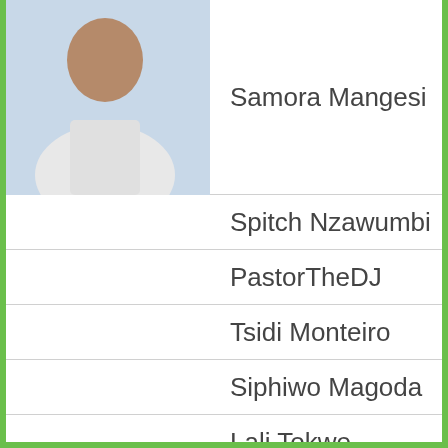Samora Mangesi
Spitch Nzawumbi
PastorTheDJ
Tsidi Monteiro
Siphiwo Magoda
Lali Tokwe
Luyanda Gidane
Dumza Maswana
Coach